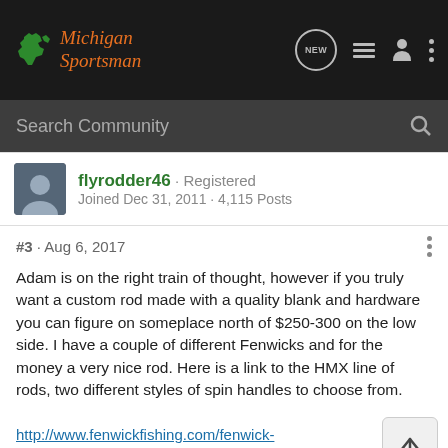Michigan Sportsman
Search Community
flyrodder46 · Registered
Joined Dec 31, 2011 · 4,115 Posts
#3 · Aug 6, 2017
Adam is on the right train of thought, however if you truly want a custom rod made with a quality blank and hardware you can figure on someplace north of $250-300 on the low side. I have a couple of different Fenwicks and for the money a very nice rod. Here is a link to the HMX line of rods, two different styles of spin handles to choose from.
http://www.fenwickfishing.com/fenwick-freshwater/#prefn1=ZZSERIES&prefv1=Fenwick%20HMX
D